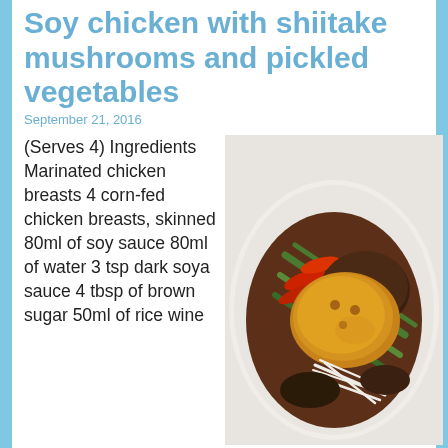Soy chicken with shiitake mushrooms and pickled vegetables
September 21, 2016
(Serves 4) Ingredients Marinated chicken breasts 4 corn-fed chicken breasts, skinned 80ml of soy sauce 80ml of water 3 tsp dark soya sauce 4 tbsp of brown sugar 50ml of rice wine
[Figure (photo): A white bowl containing soy chicken with shiitake mushrooms, red chili peppers, green beans, and white shredded vegetables, served as a dish.]